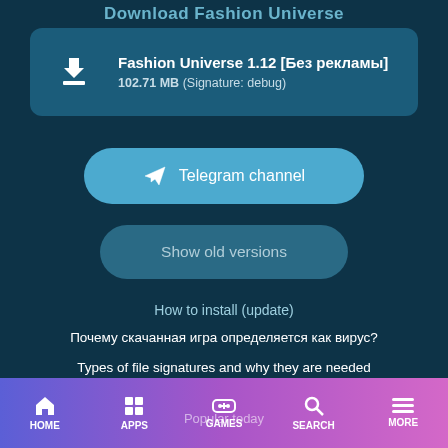Download Fashion Universe
[Figure (screenshot): Download card for Fashion Universe 1.12 [Без рекламы], 102.71 MB (Signature: debug)]
Telegram channel
Show old versions
How to install (update)
Почему скачанная игра определяется как вирус?
Types of file signatures and why they are needed
HOME  APPS  Popular today  GAMES  SEARCH  MORE